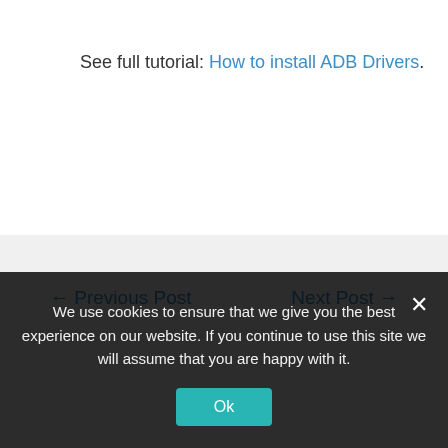See full tutorial: How to install ADB Drivers.
← Previous Post    Next Post →
Download ADB Driver Latest & All Versions
Download MediaTek (MTK) Driver Latest & All
We use cookies to ensure that we give you the best experience on our website. If you continue to use this site we will assume that you are happy with it.